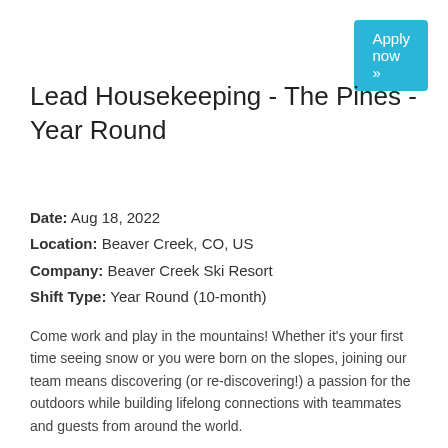[Figure (other): Apply now button - cyan/blue rounded rectangle with white text]
Lead Housekeeping - The Pines - Year Round
Date:  Aug 18, 2022
Location:  Beaver Creek, CO, US
Company:  Beaver Creek Ski Resort
Shift Type:  Year Round (10-month)
Come work and play in the mountains!  Whether it's your first time seeing snow or you were born on the slopes, joining our team means discovering (or re-discovering!) a passion for the outdoors while building lifelong connections with teammates and guests from around the world.
With 40+ resorts across 3 continents, you can join our team for a season or stay to build a career. From day one, you'll receive some of the